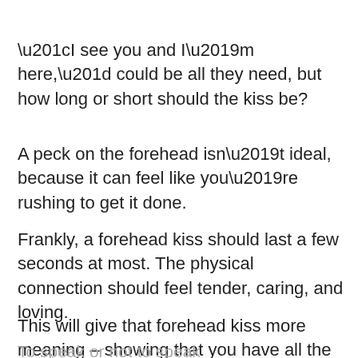“I see you and I’m here,” could be all they need, but how long or short should the kiss be?
A peck on the forehead isn’t ideal, because it can feel like you’re rushing to get it done.
Frankly, a forehead kiss should last a few seconds at most. The physical connection should feel tender, caring, and loving.
This will give that forehead kiss more meaning – showing that you have all the time in the world for this moment.
To speak or not to speak